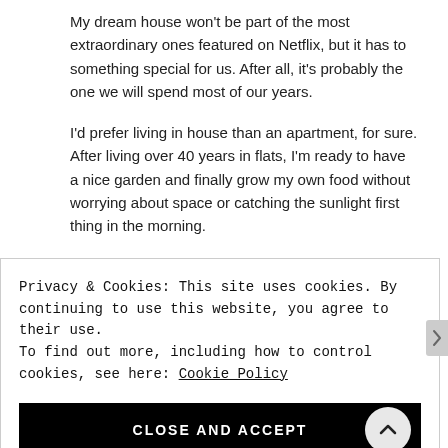My dream house won't be part of the most extraordinary ones featured on Netflix, but it has to something special for us. After all, it's probably the one we will spend most of our years.
I'd prefer living in house than an apartment, for sure. After living over 40 years in flats, I'm ready to have a nice garden and finally grow my own food without worrying about space or catching the sunlight first thing in the morning.
Privacy & Cookies: This site uses cookies. By continuing to use this website, you agree to their use.
To find out more, including how to control cookies, see here: Cookie Policy
CLOSE AND ACCEPT